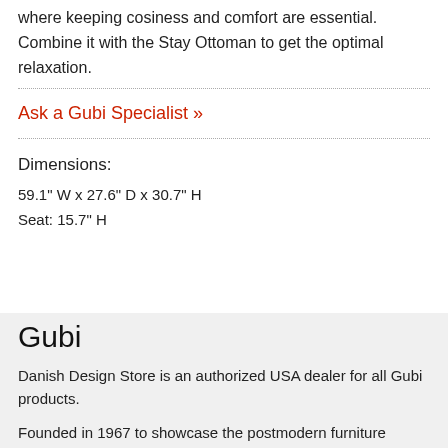where keeping cosiness and comfort are essential. Combine it with the Stay Ottoman to get the optimal relaxation.
Ask a Gubi Specialist »
Dimensions:
59.1" W x 27.6" D x 30.7" H
Seat: 15.7" H
Gubi
Danish Design Store is an authorized USA dealer for all Gubi products.
Founded in 1967 to showcase the postmodern furniture designs